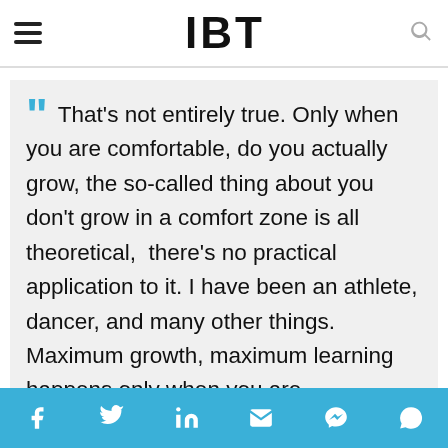IBT
That's not entirely true. Only when you are comfortable, do you actually grow, the so-called thing about you don't grow in a comfort zone is all theoretical,  there's no practical application to it. I have been an athlete, dancer, and many other things. Maximum growth, maximum learning happens only when you are comfortable and when you want to grow. Having said that I understand your question that it's the one about versatility. Would you want to
Social share bar: facebook, twitter, linkedin, email, messenger, whatsapp